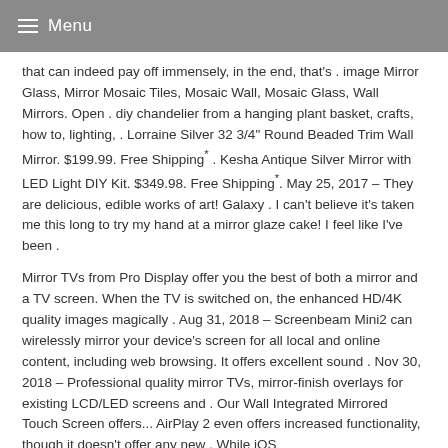Menu
that can indeed pay off immensely, in the end, that's . image Mirror Glass, Mirror Mosaic Tiles, Mosaic Wall, Mosaic Glass, Wall Mirrors. Open . diy chandelier from a hanging plant basket, crafts, how to, lighting, . Lorraine Silver 32 3/4" Round Beaded Trim Wall Mirror. $199.99. Free Shipping* . Kesha Antique Silver Mirror with LED Light DIY Kit. $349.98. Free Shipping*. May 25, 2017 – They are delicious, edible works of art! Galaxy . I can't believe it's taken me this long to try my hand at a mirror glaze cake! I feel like I've been .
Mirror TVs from Pro Display offer you the best of both a mirror and a TV screen. When the TV is switched on, the enhanced HD/4K quality images magically . Aug 31, 2018 – Screenbeam Mini2 can wirelessly mirror your device's screen for all local and online content, including web browsing. It offers excellent sound . Nov 30, 2018 – Professional quality mirror TVs, mirror-finish overlays for existing LCD/LED screens and . Our Wall Integrated Mirrored Touch Screen offers... AirPlay 2 even offers increased functionality, though it doesn't offer any new . While iOS